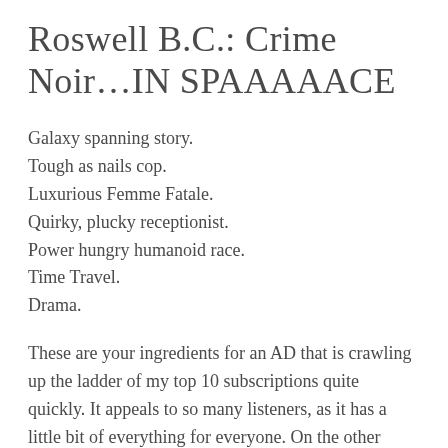Roswell B.C.: Crime Noir…IN SPAAAAACE
Galaxy spanning story.
Tough as nails cop.
Luxurious Femme Fatale.
Quirky, plucky receptionist.
Power hungry humanoid race.
Time Travel.
Drama.
These are your ingredients for an AD that is crawling up the ladder of my top 10 subscriptions quite quickly. It appeals to so many listeners, as it has a little bit of everything for everyone. On the other hand, it brings a unique take on a timeless classic of old time radio. On the OTHER other